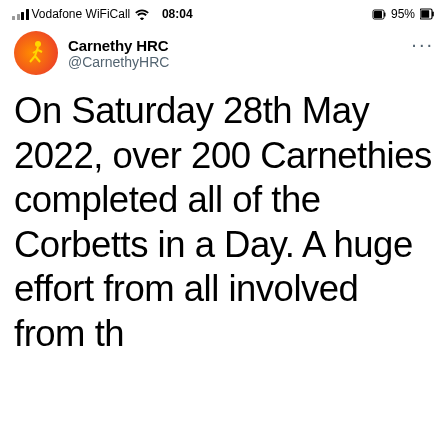Vodafone WiFiCall  08:04  95%
Carnethy HRC @CarnethyHRC
On Saturday 28th May 2022, over 200 Carnethies completed all of the Corbetts in a Day. A huge effort from all involved from the